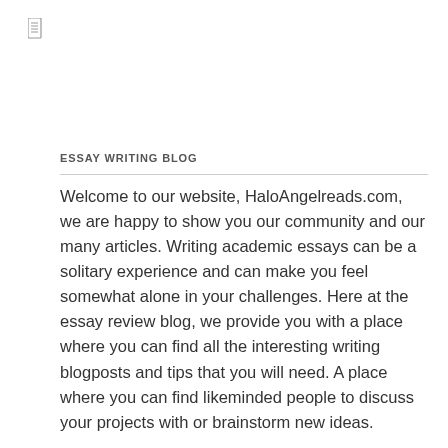[Figure (other): Small document/page icon in top left corner]
ESSAY WRITING BLOG
Welcome to our website, HaloAngelreads.com, we are happy to show you our community and our many articles. Writing academic essays can be a solitary experience and can make you feel somewhat alone in your challenges. Here at the essay review blog, we provide you with a place where you can find all the interesting writing blogposts and tips that you will need. A place where you can find likeminded people to discuss your projects with or brainstorm new ideas.
Here you can find quality content written by